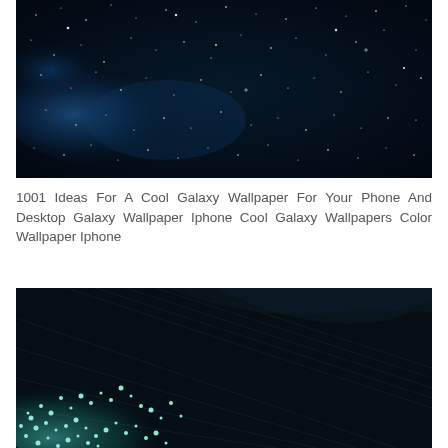[Figure (photo): Night sky with stars and blue nebula/galaxy cloud on dark background]
1001 Ideas For A Cool Galaxy Wallpaper For Your Phone And Desktop Galaxy Wallpaper Iphone Cool Galaxy Wallpapers Color Wallpaper Iphone
[Figure (photo): Abstract dark background with teal/cyan glowing particles or sparkles in lower left, diagonal streaks]